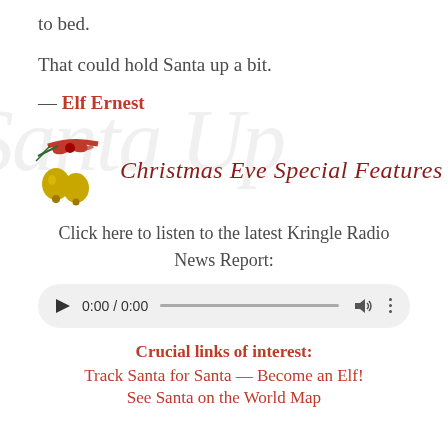to bed.
That could hold Santa up a bit.
— Elf Ernest
[Figure (illustration): Christmas bells with red ribbon and bow decoration alongside cursive text reading 'Christmas Eve Special Features' in dark red]
Click here to listen to the latest Kringle Radio News Report:
[Figure (screenshot): Audio player widget showing 0:00 / 0:00 with play button, progress bar, volume icon, and more options icon on a light grey rounded rectangle background]
Crucial links of interest:
Track Santa for Santa — Become an Elf!
See Santa on the World Map